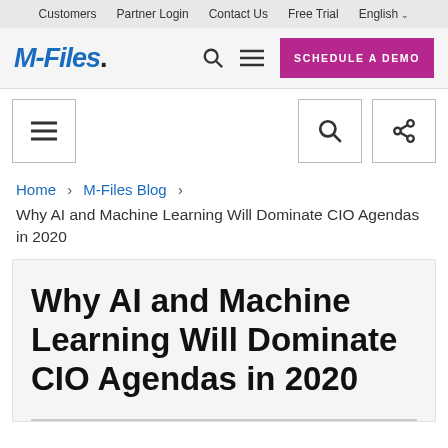Customers  Partner Login  Contact Us  Free Trial  English
[Figure (logo): M-Files logo with search, menu icons and Schedule a Demo button]
[Figure (screenshot): Secondary toolbar with hamburger menu, search, and share icon boxes]
Home > M-Files Blog >
Why AI and Machine Learning Will Dominate CIO Agendas in 2020
Why AI and Machine Learning Will Dominate CIO Agendas in 2020